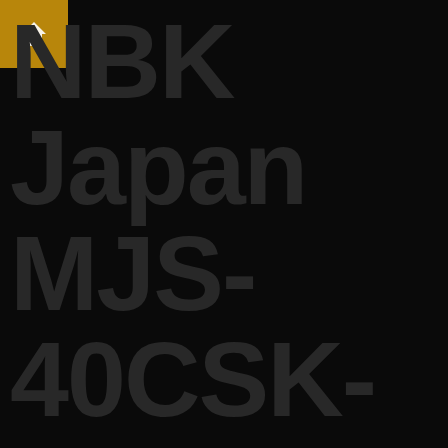[Figure (logo): NBK Japan gold/amber square logo badge with a small white angular house/arrow icon in the top-left corner]
NBK Japan MJS-40CSK-EWH